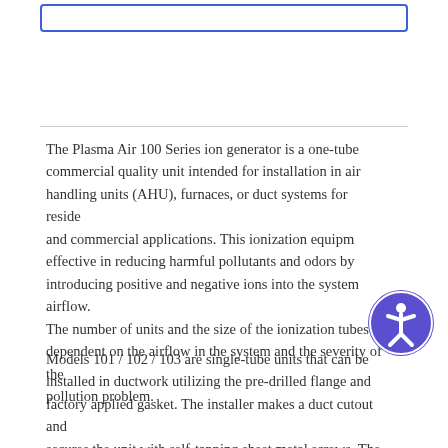The Plasma Air 100 Series ion generator is a one-tube commercial quality unit intended for installation in air handling units (AHU), furnaces, or duct systems for residential and commercial applications. This ionization equipment is effective in reducing harmful pollutants and odors by introducing positive and negative ions into the system airflow. The number of units and the size of the ionization tubes are dependent on the airflow in the system and the severity of the pollution problem.
Models 101 / 102 / 103 are single-tube units that can be installed in ductwork utilizing the pre-drilled flange and factory applied gasket. The installer makes a duct cutout and secures the unit with self-tapping sheet metal screws. The unit